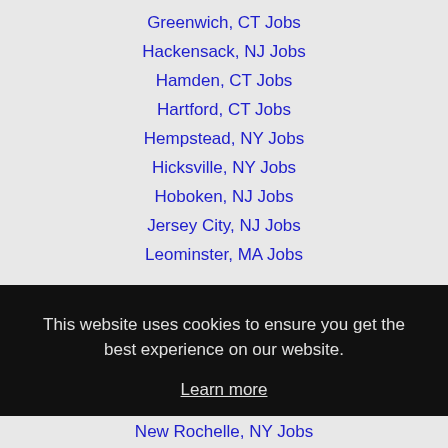Greenwich, CT Jobs
Hackensack, NJ Jobs
Hamden, CT Jobs
Hartford, CT Jobs
Hempstead, NY Jobs
Hicksville, NY Jobs
Hoboken, NJ Jobs
Jersey City, NJ Jobs
Leominster, MA Jobs
This website uses cookies to ensure you get the best experience on our website.
Learn more
Got it!
New Rochelle, NY Jobs